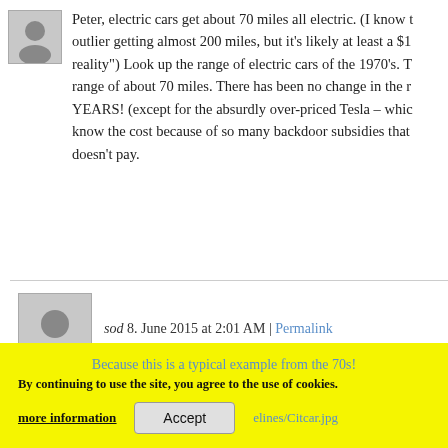Peter, electric cars get about 70 miles all electric. (I know outlier getting almost 200 miles, but it's likely at least a $1 reality") Look up the range of electric cars of the 1970's. T range of about 70 miles. There has been no change in the r YEARS! (except for the absurdly over-priced Tesla – whic know the cost because of so many backdoor subsidies tha doesn't pay.
sod 8. June 2015 at 2:01 AM | Permalink
" Look up the range of electric cars of the 1970's."
What sort of electric car from the 70s are you compari
Because this is a typical example from the 70s!
By continuing to use the site, you agree to the use of cookies.
more information
Accept
http://…/citcar.jpg
I would call this sort of comparison a "trick"!!!!